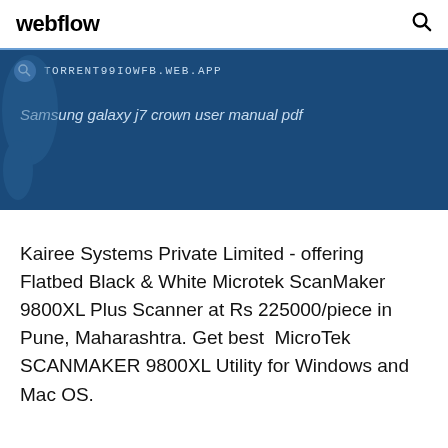webflow
[Figure (screenshot): Dark blue banner with a URL bar showing TORRENT99IOWFB.WEB.APP and text 'Samsung galaxy j7 crown user manual pdf' below it. A partial world map silhouette is visible on the left side.]
Kairee Systems Private Limited - offering Flatbed Black & White Microtek ScanMaker 9800XL Plus Scanner at Rs 225000/piece in Pune, Maharashtra. Get best  MicroTek SCANMAKER 9800XL Utility for Windows and Mac OS.